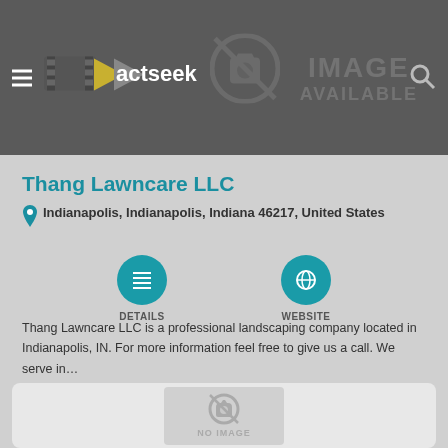Xactseek
Thang Lawncare LLC
Indianapolis, Indianapolis, Indiana 46217, United States
DETAILS
WEBSITE
Thang Lawncare LLC is a professional landscaping company located in Indianapolis, IN. For more information feel free to give us a call. We serve in…
[Figure (photo): No image available placeholder with camera icon]